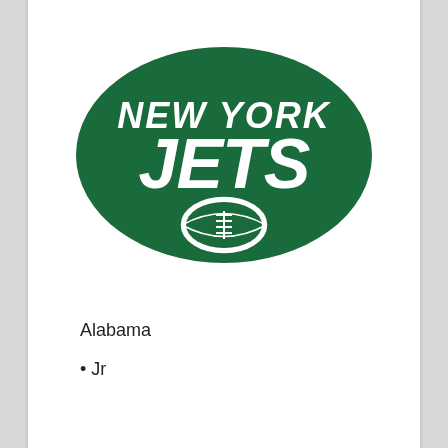[Figure (logo): New York Jets NFL team logo — green oval/football shape with 'NEW YORK' in white italic text on top and 'JETS' in large white italic text below, with a football icon at the bottom center]
Alabama
• Jr